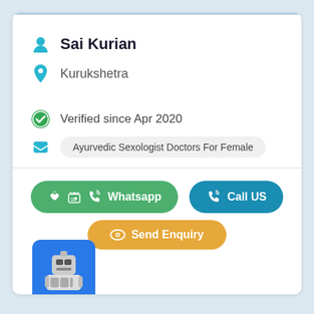Sai Kurian
Kurukshetra
Verified since Apr 2020
Ayurvedic Sexologist Doctors For Female
Whatsapp
Call US
Send Enquiry